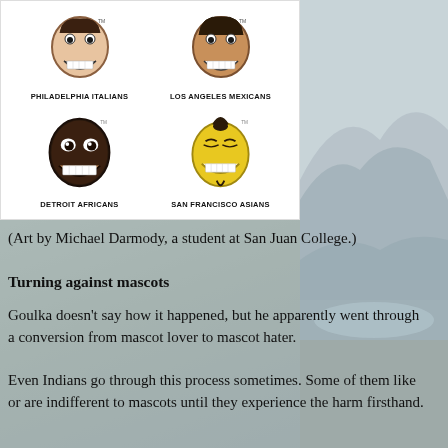[Figure (illustration): Four mascot logos styled after the Cleveland Indians Chief Wahoo logo, arranged in a 2x2 grid. Top left: Philadelphia Italians (tan/peach face). Top right: Los Angeles Mexicans (brown face). Bottom left: Detroit Africans (dark brown/black face). Bottom right: San Francisco Asians (yellow face). Each has exaggerated caricature features similar to Chief Wahoo. Art by Michael Darmody, a student at San Juan College.]
(Art by Michael Darmody, a student at San Juan College.)
Turning against mascots
Goulka doesn't say how it happened, but he apparently went through a conversion from mascot lover to mascot hater.
Even Indians go through this process sometimes. Some of them like or are indifferent to mascots until they experience the harm firsthand.